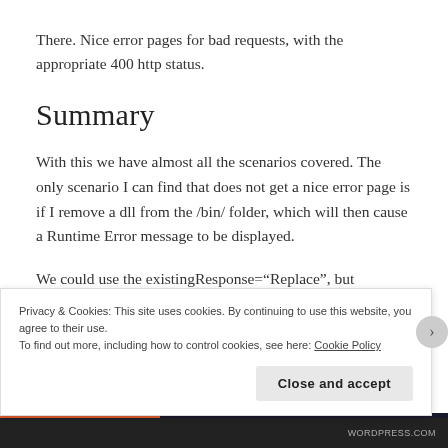There. Nice error pages for bad requests, with the appropriate 400 http status.
Summary
With this we have almost all the scenarios covered. The only scenario I can find that does not get a nice error page is if I remove a dll from the /bin/ folder, which will then cause a Runtime Error message to be displayed.
We could use the existingResponse="Replace", but
Privacy & Cookies: This site uses cookies. By continuing to use this website, you agree to their use.
To find out more, including how to control cookies, see here: Cookie Policy
Close and accept